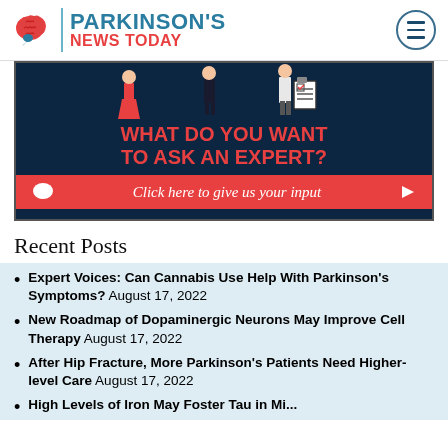[Figure (logo): Parkinson's News Today logo with brain icon, teal divider, and site name in blue and red]
[Figure (infographic): Banner ad with dark background showing illustrated figures and text 'WHAT DO YOU WANT TO ASK AN EXPERT?' with red CTA button 'Click here to give us your input']
Recent Posts
Expert Voices: Can Cannabis Use Help With Parkinson's Symptoms? August 17, 2022
New Roadmap of Dopaminergic Neurons May Improve Cell Therapy August 17, 2022
After Hip Fracture, More Parkinson's Patients Need Higher-level Care August 17, 2022